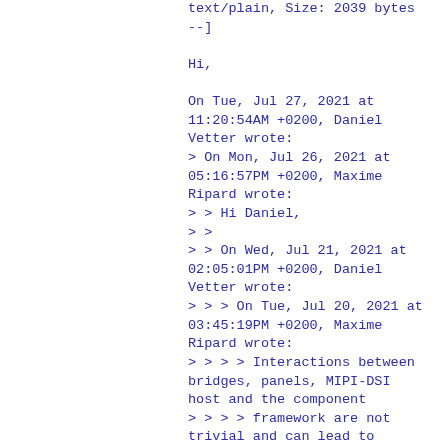text/plain, Size: 2039 bytes
--]

Hi,

On Tue, Jul 27, 2021 at
11:20:54AM +0200, Daniel
Vetter wrote:
> On Mon, Jul 26, 2021 at
05:16:57PM +0200, Maxime
Ripard wrote:
> > Hi Daniel,
> >
> > On Wed, Jul 21, 2021 at
02:05:01PM +0200, Daniel
Vetter wrote:
> > > On Tue, Jul 20, 2021 at
03:45:19PM +0200, Maxime
Ripard wrote:
> > > > Interactions between
bridges, panels, MIPI-DSI
host and the component
> > > > framework are not
trivial and can lead to
probing issues when
> > > > implementing a
display driver. Let's
document the various cases we
need
> > > > too consider, and the